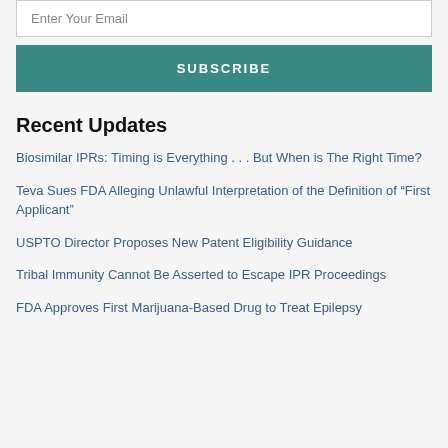Enter Your Email
SUBSCRIBE
Recent Updates
Biosimilar IPRs: Timing is Everything . . . But When is The Right Time?
Teva Sues FDA Alleging Unlawful Interpretation of the Definition of “First Applicant”
USPTO Director Proposes New Patent Eligibility Guidance
Tribal Immunity Cannot Be Asserted to Escape IPR Proceedings
FDA Approves First Marijuana-Based Drug to Treat Epilepsy